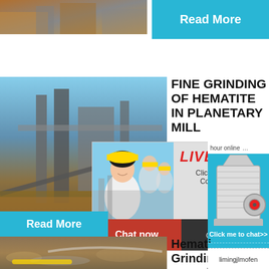[Figure (photo): Top left: partial industrial/mining scene photo strip]
Read More
[Figure (photo): Left side: industrial plant/conveyor belt scene with blue sky]
FINE GRINDING OF HEMATITE IN PLANETARY MILL
[Figure (screenshot): Live Chat popup overlay with smiling woman in hard hat and colleagues. Shows LIVE CHAT label, 'Click for a Free Consultation', Chat now and Chat later buttons, and close X button.]
hour online
[Figure (photo): Right panel: crusher/jaw crusher machine image on blue background]
Click me to chat>>
Read More
[Figure (photo): Bottom left: ground/soil/mining site photo]
Hematite Grinding marseil
Enquiry
limingjlmofen